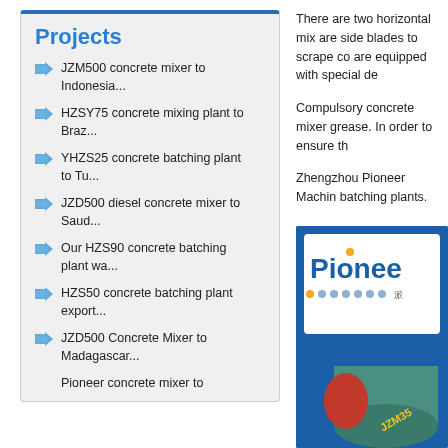Projects
JZM500 concrete mixer to Indonesia...
HZSY75 concrete mixing plant to Braz...
YHZS25 concrete batching plant to Tu...
JZD500 diesel concrete mixer to Saud...
Our HZS90 concrete batching plant wa...
HZS50 concrete batching plant export...
JZD500 Concrete Mixer to Madagascar...
Pioneer concrete mixer to
There are two horizontal mix are side blades to scrape co are equipped with special de
Compulsory concrete mixer grease. In order to ensure th
Zhengzhou Pioneer Machin batching plants.
[Figure (logo): Pioneer brand logo with blue background, orange dot, and concrete mixer equipment image. Text reads 'Pionee' (Pioneer) in blue and orange dots with Chinese characters.]